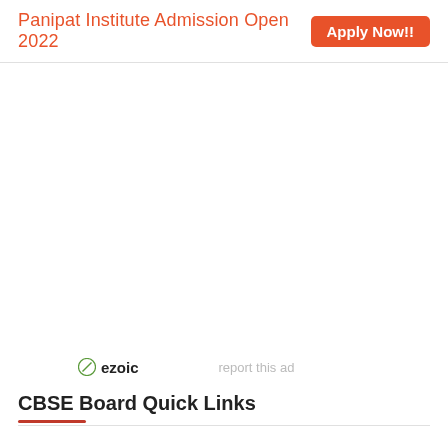Panipat Institute Admission Open 2022   Apply Now!!
[Figure (other): Advertisement area (blank/empty ad space)]
ezoic   report this ad
CBSE Board Quick Links